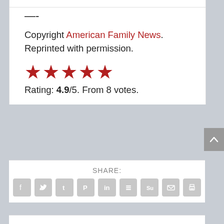—-
Copyright American Family News. Reprinted with permission.
[Figure (other): Five red star rating icons]
Rating: 4.9/5. From 8 votes.
SHARE:
[Figure (other): Row of social share icons: Facebook, Twitter, Tumblr, Pinterest, LinkedIn, Buffer, StumbleUpon, Email, Print]